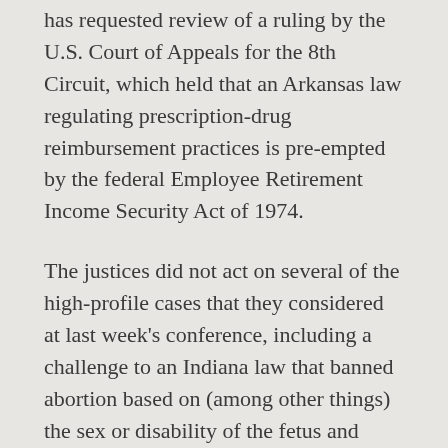has requested review of a ruling by the U.S. Court of Appeals for the 8th Circuit, which held that an Arkansas law regulating prescription-drug reimbursement practices is pre-empted by the federal Employee Retirement Income Security Act of 1974.
The justices did not act on several of the high-profile cases that they considered at last week's conference, including a challenge to an Indiana law that banned abortion based on (among other things) the sex or disability of the fetus and required fetal remains to be buried or cremated; a group of cases asking the justices to weigh in on whether federal employment discrimination laws protect LGBTQ employees; and a petition for review filed by an Oregon couple who refused to make a custom cake for a same-sex wedding.
The justices will meet for their next conference